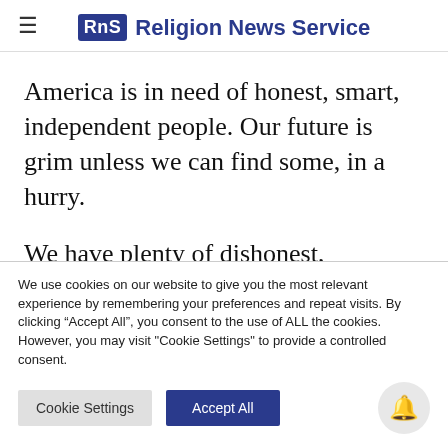RNS Religion News Service
America is in need of honest, smart, independent people. Our future is grim unless we can find some, in a hurry.
We have plenty of dishonest, ignorant, ideological people. It is hard to know which
We use cookies on our website to give you the most relevant experience by remembering your preferences and repeat visits. By clicking "Accept All", you consent to the use of ALL the cookies. However, you may visit "Cookie Settings" to provide a controlled consent.